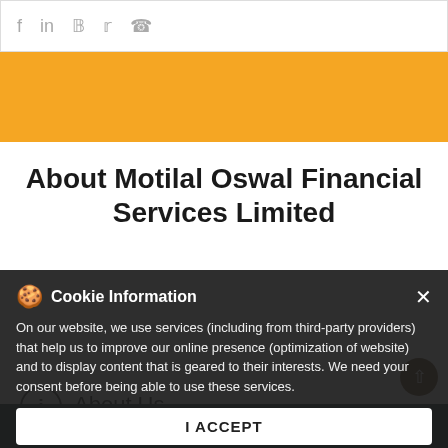[Figure (screenshot): Social media share icons (Facebook, LinkedIn, Pinterest, Twitter, WhatsApp) in a white top bar]
[Figure (other): Yellow/golden horizontal banner strip]
About Motilal Oswal Financial Services Limited
About Us
"Motilal Oswal Financial Services Ltd. is a reputed name in Financial Services with group companies providing Private Wealth Management, Retail Broking and Distribution, Institutional Broking, Asset & Home Finance. Motilal Oswal Securities is a group company of Motilal Oswal Financial Service Limited which started as a stock broking company and has blossomed into well diversified firm offering a range of financial
Cookie Information
On our website, we use services (including from third-party providers) that help us to improve our online presence (optimization of website) and to display content that is geared to their interests. We need your consent before being able to use these services.
I ACCEPT
Open an account